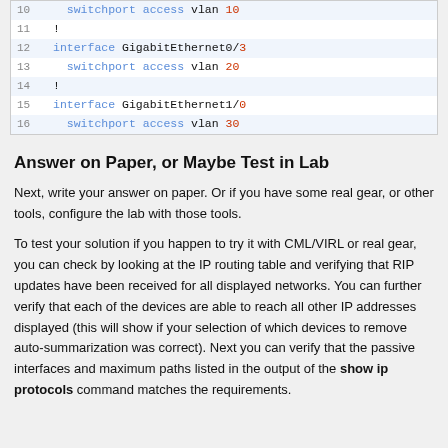[Figure (screenshot): Code block showing network interface configuration lines 10-16 with syntax highlighting. Line 10: switchport access vlan 10 (partially visible), Line 11: !, Line 12: interface GigabitEthernet0/3, Line 13: switchport access vlan 20, Line 14: !, Line 15: interface GigabitEthernet1/0, Line 16: switchport access vlan 30]
Answer on Paper, or Maybe Test in Lab
Next, write your answer on paper. Or if you have some real gear, or other tools, configure the lab with those tools.
To test your solution if you happen to try it with CML/VIRL or real gear, you can check by looking at the IP routing table and verifying that RIP updates have been received for all displayed networks. You can further verify that each of the devices are able to reach all other IP addresses displayed (this will show if your selection of which devices to remove auto-summarization was correct). Next you can verify that the passive interfaces and maximum paths listed in the output of the show ip protocols command matches the requirements.